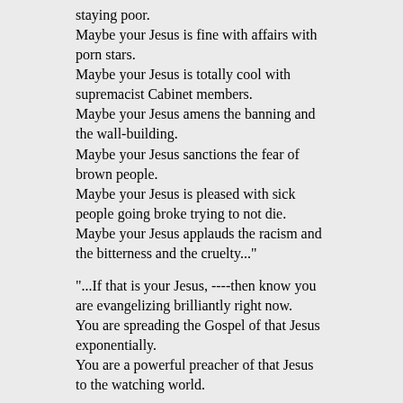staying poor.
Maybe your Jesus is fine with affairs with porn stars.
Maybe your Jesus is totally cool with supremacist Cabinet members.
Maybe your Jesus amens the banning and the wall-building.
Maybe your Jesus sanctions the fear of brown people.
Maybe your Jesus is pleased with sick people going broke trying to not die.
Maybe your Jesus applauds the racism and the bitterness and the cruelty..."

"...If that is your Jesus, ----then know you are evangelizing brilliantly right now.
You are spreading the Gospel of that Jesus exponentially.
You are a powerful preacher of that Jesus to the watching world.